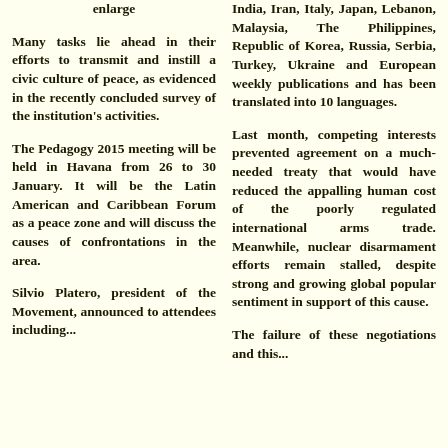enlarge
Many tasks lie ahead in their efforts to transmit and instill a civic culture of peace, as evidenced in the recently concluded survey of the institution's activities.
The Pedagogy 2015 meeting will be held in Havana from 26 to 30 January. It will be the Latin American and Caribbean Forum as a peace zone and will discuss the causes of confrontations in the area.
Silvio Platero, president of the Movement, announced to attendees including...
India, Iran, Italy, Japan, Lebanon, Malaysia, The Philippines, Republic of Korea, Russia, Serbia, Turkey, Ukraine and European weekly publications and has been translated into 10 languages.
Last month, competing interests prevented agreement on a much-needed treaty that would have reduced the appalling human cost of the poorly regulated international arms trade. Meanwhile, nuclear disarmament efforts remain stalled, despite strong and growing global popular sentiment in support of this cause.
The failure of these negotiations and this...